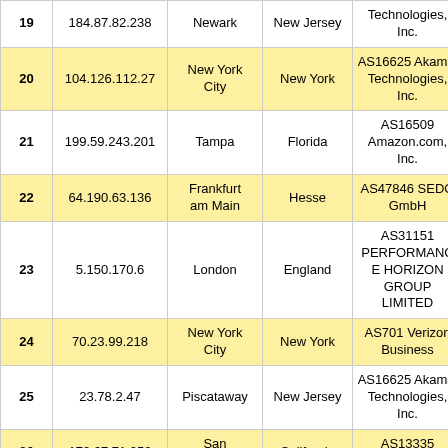| # | IP | City | Region | Organization | ... |
| --- | --- | --- | --- | --- | --- |
| 19 | 184.87.82.238 | Newark | New Jersey | Technologies, Inc. | 0 |
| 20 | 104.126.112.27 | New York City | New York | AS16625 Akamai Technologies, Inc. | 1 |
| 21 | 199.59.243.201 | Tampa | Florida | AS16509 Amazon.com, Inc. | 3 |
| 22 | 64.190.63.136 | Frankfurt am Main | Hesse | AS47846 SEDO GmbH | 6 |
| 23 | 5.150.170.6 | London | England | AS31151 PERFORMANCE HORIZON GROUP LIMITED | E |
| 24 | 70.23.99.218 | New York City | New York | AS701 Verizon Business | 1 |
| 25 | 23.78.2.47 | Piscataway | New Jersey | AS16625 Akamai Technologies, Inc. | 0 |
| 26 | 172.67.71.250 | San Francisco | California | AS13335 Cloudflare, Inc. | 9 |
| 27 | 18.189.83.174 | Hilliard | Ohio | AS16509 Amazon.com, Inc. | 4 |